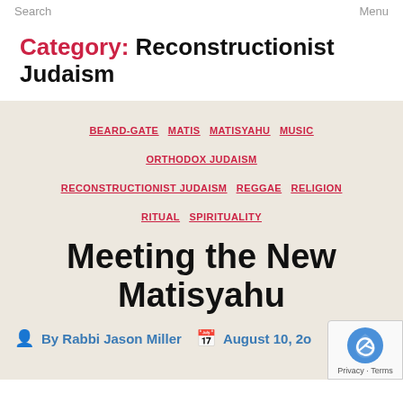Search   Menu
Category: Reconstructionist Judaism
BEARD-GATE  MATIS  MATISYAHU  MUSIC  ORTHODOX JUDAISM  RECONSTRUCTIONIST JUDAISM  REGGAE  RELIGION  RITUAL  SPIRITUALITY
Meeting the New Matisyahu
By Rabbi Jason Miller   August 10, 2o...